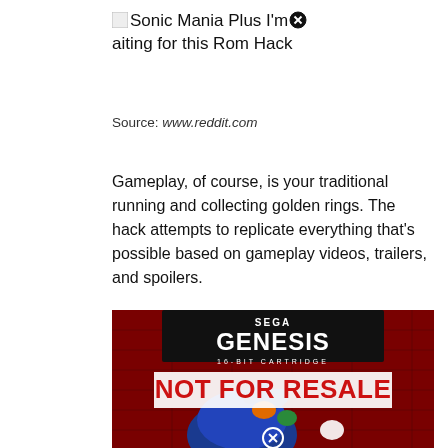Sonic Mania Plus I'm❌aiting for this Rom Hack
Source: www.reddit.com
Gameplay, of course, is your traditional running and collecting golden rings. The hack attempts to replicate everything that's possible based on gameplay videos, trailers, and spoilers.
[Figure (photo): Sega Genesis 16-bit cartridge image showing 'NOT FOR RESALE' label with Sonic the Hedgehog artwork and a close button icon at the bottom center.]